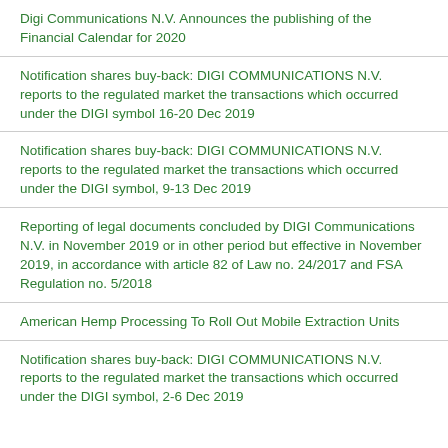Digi Communications N.V. Announces the publishing of the Financial Calendar for 2020
Notification shares buy-back: DIGI COMMUNICATIONS N.V. reports to the regulated market the transactions which occurred under the DIGI symbol 16-20 Dec 2019
Notification shares buy-back: DIGI COMMUNICATIONS N.V. reports to the regulated market the transactions which occurred under the DIGI symbol, 9-13 Dec 2019
Reporting of legal documents concluded by DIGI Communications N.V. in November 2019 or in other period but effective in November 2019, in accordance with article 82 of Law no. 24/2017 and FSA Regulation no. 5/2018
American Hemp Processing To Roll Out Mobile Extraction Units
Notification shares buy-back: DIGI COMMUNICATIONS N.V. reports to the regulated market the transactions which occurred under the DIGI symbol, 2-6 Dec 2019